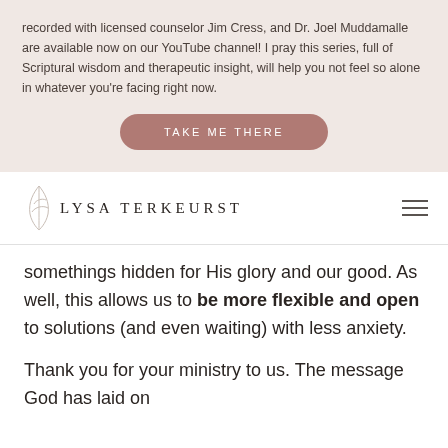recorded with licensed counselor Jim Cress, and Dr. Joel Muddamalle are available now on our YouTube channel! I pray this series, full of Scriptural wisdom and therapeutic insight, will help you not feel so alone in whatever you're facing right now.
TAKE ME THERE
LYSA TERKEURST
somethings hidden for His glory and our good. As well, this allows us to be more flexible and open to solutions (and even waiting) with less anxiety.
Thank you for your ministry to us. The message God has laid on